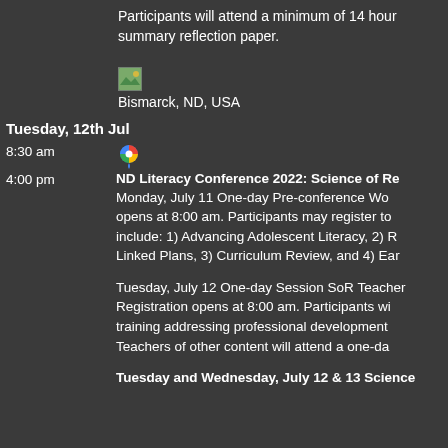Participants will attend a minimum of 14 hour summary reflection paper.
[Figure (illustration): Small image icon (landscape/map thumbnail)]
Bismarck, ND, USA
Tuesday, 12th Jul
8:30 am
[Figure (illustration): Google Maps icon]
4:00 pm
ND Literacy Conference 2022: Science of Re
Monday, July 11 One-day Pre-conference Wo opens at 8:00 am. Participants may register to include: 1) Advancing Adolescent Literacy, 2) R Linked Plans, 3) Curriculum Review, and 4) Ear
Tuesday, July 12 One-day Session SoR Teacher Registration opens at 8:00 am. Participants wi training addressing professional development Teachers of other content will attend a one-da
Tuesday and Wednesday, July 12 & 13 Science